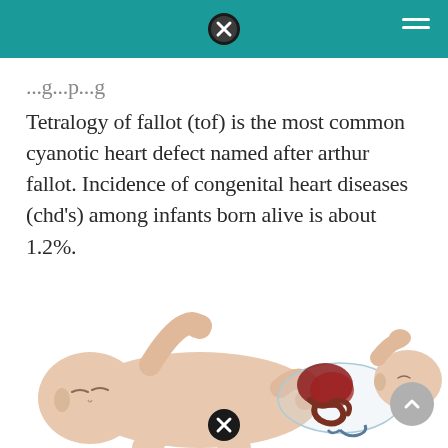Tetralogy of fallot (tof) is the most common cyanotic heart defect named after arthur fallot. Incidence of congenital heart diseases (chd’s) among infants born alive is about 1.2%.
[Figure (illustration): Medical illustration showing two infants side by side: one normal infant lying on its back, and one showing a transparent view revealing internal organs (heart and intestines), depicting congenital heart conditions.]